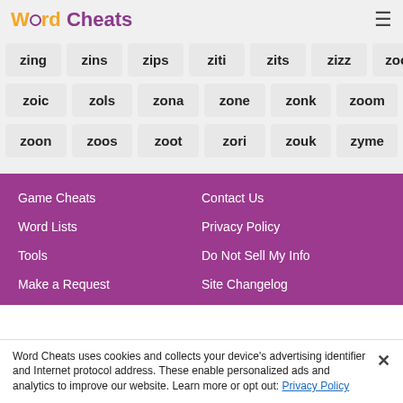Word Cheats
zing
zins
zips
ziti
zits
zizz
zoea
zoic
zols
zona
zone
zonk
zoom
zoon
zoos
zoot
zori
zouk
zyme
Game Cheats
Word Lists
Tools
Make a Request
Contact Us
Privacy Policy
Do Not Sell My Info
Site Changelog
Word Cheats uses cookies and collects your device's advertising identifier and Internet protocol address. These enable personalized ads and analytics to improve our website. Learn more or opt out: Privacy Policy